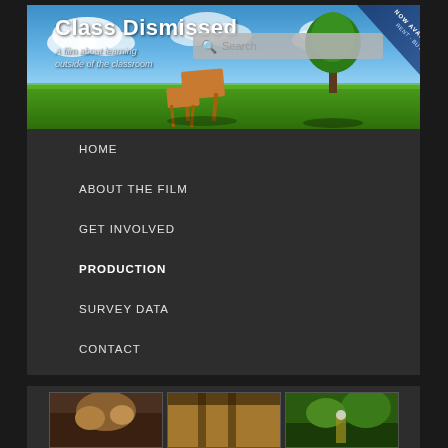[Figure (screenshot): Website header banner for 'Class Dismissed' film showing blue sky with clouds, green grass field, a school desk outdoors, and a tree. Has title text and search bar overlay.]
Class Dismissed
A film about learning outside of the classroom
HOME
ABOUT THE FILM
GET INVOLVED
PRODUCTION
SURVEY DATA
CONTACT
[Figure (photo): Three small thumbnail photos at the bottom of the page showing various scenes]